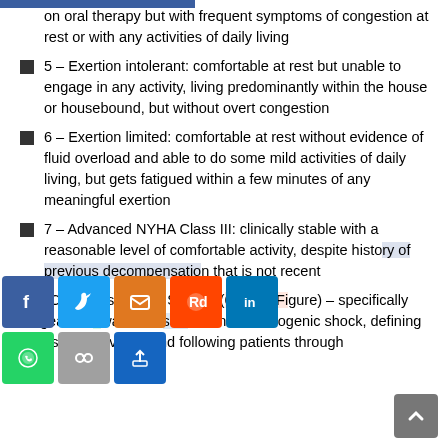on oral therapy but with frequent symptoms of congestion at rest or with any activities of daily living
5 – Exertion intolerant: comfortable at rest but unable to engage in any activity, living predominantly within the house or housebound, but without overt congestion
6 – Exertion limited: comfortable at rest without evidence of fluid overload and able to do some mild activities of daily living, but gets fatigued within a few minutes of any meaningful exertion
7 – Advanced NYHA Class III: clinically stable with a reasonable level of comfortable activity, despite history of previous decompensation that is not recent
SCAI Classification System (6 – see Figure) – specifically geared towards classification of cardiogenic shock, defining disease severity, and following patients through